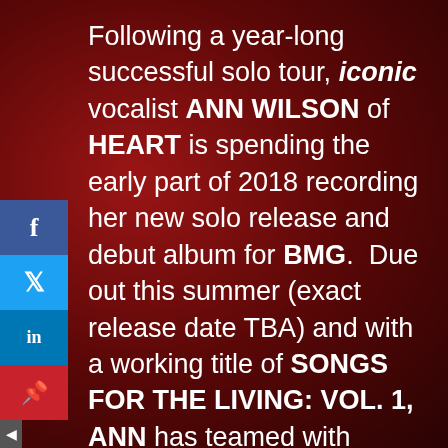Following a year-long successful solo tour, iconic vocalist ANN WILSON of HEART is spending the early part of 2018 recording her new solo release and debut album for BMG. Due out this summer (exact release date TBA) and with a working title of SONGS FOR THE LIVING: VOL. 1, ANN has teamed with original Heart producer Mike Flicker (Dreamboat Annie, Magazine, Little Queen, Dog and Butterfly and Bebe Le Strange,